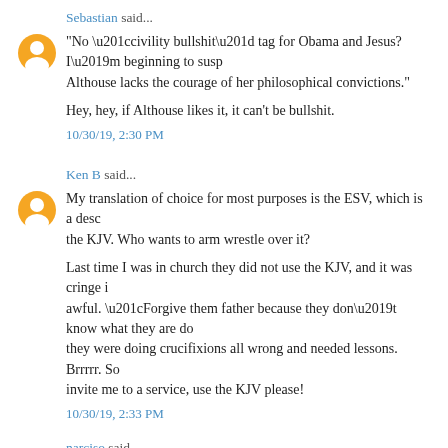Sebastian said...
"No “civility bullshit” tag for Obama and Jesus? I’m beginning to susp Althouse lacks the courage of her philosophical convictions."
Hey, hey, if Althouse likes it, it can't be bullshit.
10/30/19, 2:30 PM
Ken B said...
My translation of choice for most purposes is the ESV, which is a desc the KJV. Who wants to arm wrestle over it?
Last time I was in church they did not use the KJV, and it was cringe i awful. “Forgive them father because they don’t know what they are do they were doing crucifixions all wrong and needed lessons. Brrrrr. So invite me to a service, use the KJV please!
10/30/19, 2:33 PM
narciso said...